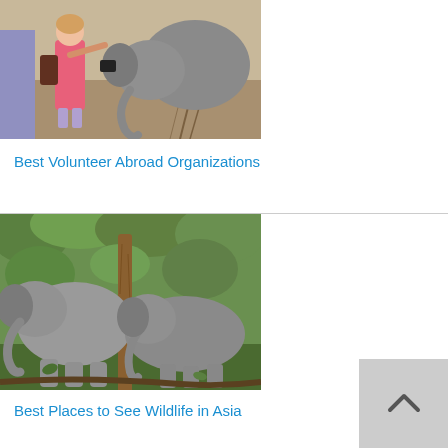[Figure (photo): A girl in a pink top photographing or touching a baby elephant outdoors]
Best Volunteer Abroad Organizations
[Figure (photo): Two elephants standing together in a forested area with trees and green vegetation]
Best Places to See Wildlife in Asia